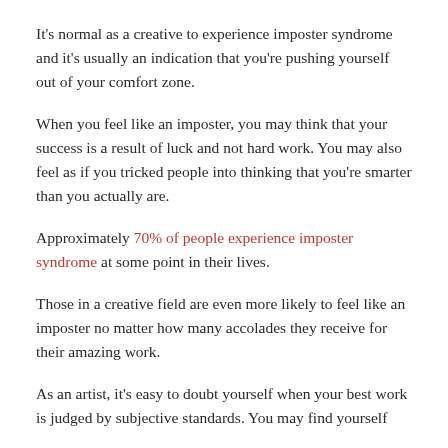It's normal as a creative to experience imposter syndrome and it's usually an indication that you're pushing yourself out of your comfort zone.
When you feel like an imposter, you may think that your success is a result of luck and not hard work. You may also feel as if you tricked people into thinking that you're smarter than you actually are.
Approximately 70% of people experience imposter syndrome at some point in their lives.
Those in a creative field are even more likely to feel like an imposter no matter how many accolades they receive for their amazing work.
As an artist, it's easy to doubt yourself when your best work is judged by subjective standards. You may find yourself